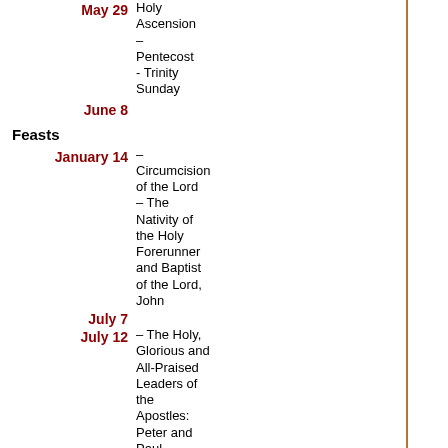May 29 – Holy Ascension – Pentecost - Trinity Sunday June 8
Feasts
January 14 – Circumcision of the Lord – The Nativity of the Holy Forerunner and Baptist of the Lord, John July 7
July 12 – The Holy, Glorious and All-Praised Leaders of the Apostles: Peter and Paul – The Beheading of the Prophet, Forerunner of the Lord, September 11